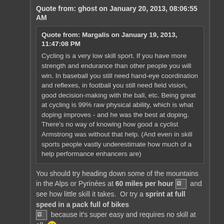Quote from: ghost on January 20, 2013, 08:06:55 AM
Quote from: Margalis on January 19, 2013, 11:47:08 PM

Cycling is a very low skill sport. If you have more strength and endurance than other people you will win. In baseball you still need hand-eye coordination and reflexes, in football you still need field vision, good decision-making with the ball, etc. Being great at cycling is 99% raw physical ability, which is what doping improves - and he was the best at doping. There's no way of knowing how good a cyclist Armstrong was without that help. (And even in skill sports people vastly underestimate how much of a help performance enhancers are)
You should try heading down some of the mountains in the Alps or Pyrinées at 60 miles per hour  and see how little skill it takes.  Or try a sprint at full speed in a pack full of bikes  because it's super easy and requires no skill at all.